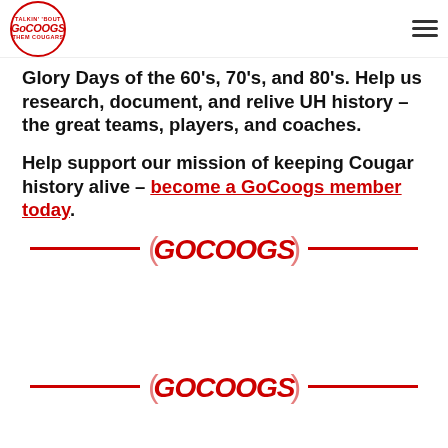GoCoogs logo and navigation hamburger menu
Glory Days of the 60's, 70's, and 80's. Help us research, document, and relive UH history – the great teams, players, and coaches.
Help support our mission of keeping Cougar history alive – become a GoCoogs member today.
[Figure (logo): GoCoogs logo divider with red horizontal lines and GoCoogs text in red italic font]
[Figure (logo): GoCoogs logo divider with red horizontal lines and GoCoogs text in red italic font]